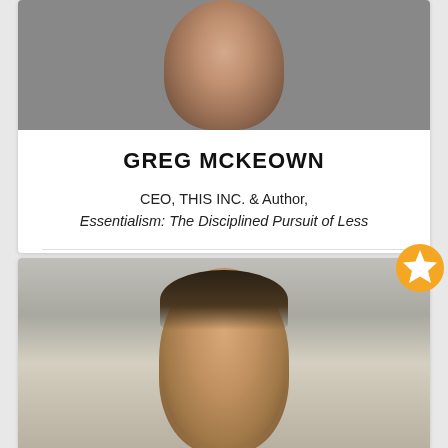[Figure (photo): Top portion of a man in a dark suit, cropped at the top of the card]
GREG MCKEOWN
CEO, THIS INC. & Author, Essentialism: The Disciplined Pursuit of Less
Fee Range: $25,000-$40,000
Travels From: California
[Figure (screenshot): YouTube play button icon (black rounded rectangle with white triangle)]
[Figure (photo): Second speaker profile photo: man with dark hair in front of brick wall, partially visible]